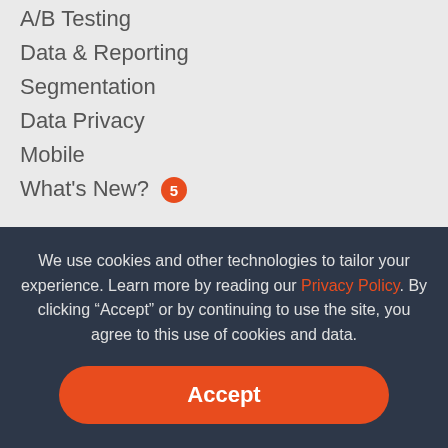A/B Testing
Data & Reporting
Segmentation
Data Privacy
Mobile
What's New? 5
Resources
Case Studies
Books & Guides
Demo Store
Technical Documentation
Company
We use cookies and other technologies to tailor your experience. Learn more by reading our Privacy Policy. By clicking “Accept” or by continuing to use the site, you agree to this use of cookies and data.